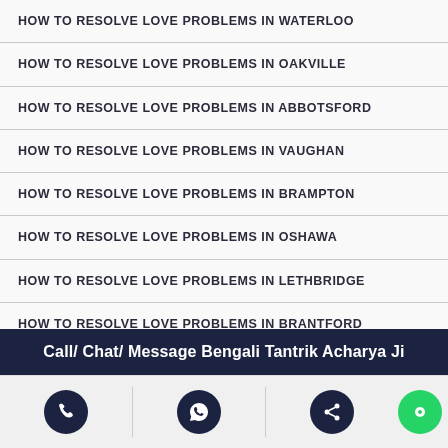HOW TO RESOLVE LOVE PROBLEMS IN WATERLOO
HOW TO RESOLVE LOVE PROBLEMS IN OAKVILLE
HOW TO RESOLVE LOVE PROBLEMS IN ABBOTSFORD
HOW TO RESOLVE LOVE PROBLEMS IN VAUGHAN
HOW TO RESOLVE LOVE PROBLEMS IN BRAMPTON
HOW TO RESOLVE LOVE PROBLEMS IN OSHAWA
HOW TO RESOLVE LOVE PROBLEMS IN LETHBRIDGE
HOW TO RESOLVE LOVE PROBLEMS IN BRANTFORD
HOW TO RESOLVE LOVE PROBLEMS IN SHERBROOKE
Call/ Chat/ Message Bengali Tantrik Acharya Ji
[Figure (infographic): Bottom bar with phone, WhatsApp, share, and chat icons]